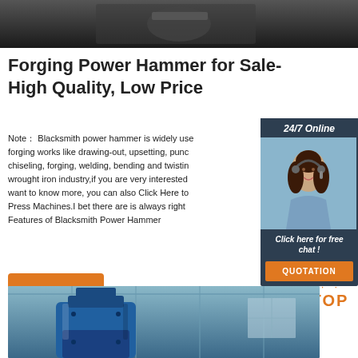[Figure (photo): Top image of industrial/forging machinery, dark background]
Forging Power Hammer for Sale-High Quality, Low Price
Note： Blacksmith power hammer is widely used in forging works like drawing-out, upsetting, punching, chiseling, forging, welding, bending and twisting in wrought iron industry,if you are very interested and want to know more, you can also Click Here to Press Machines.I bet there are is always right Features of Blacksmith Power Hammer
[Figure (infographic): Sidebar widget with 24/7 Online label, customer service representative photo, Click here for free chat text, and QUOTATION button]
[Figure (illustration): Orange Get Price button]
[Figure (infographic): TOP button with orange dots above text]
[Figure (photo): Bottom image showing blue forging power hammer machine in industrial warehouse setting]